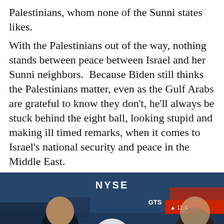Palestinians, whom none of the Sunni states likes.
With the Palestinians out of the way, nothing stands between peace between Israel and her Sunni neighbors.  Because Biden still thinks the Palestinians matter, even as the Gulf Arabs are grateful to know they don't, he'll always be stuck behind the eight ball, looking stupid and making ill timed remarks, when it comes to Israel's national security and peace in the Middle East.
[Figure (screenshot): Video thumbnail showing NYSE trading floor with two people, a play button in the center. An ad overlay at the bottom shows two sponsored content cards: 'Dems Raid Mar-A-Lago when They Should b...' from Infected, and 'A Tragic End Today For Willie Nelson' from Breaking News, with an X close button.]
Biden